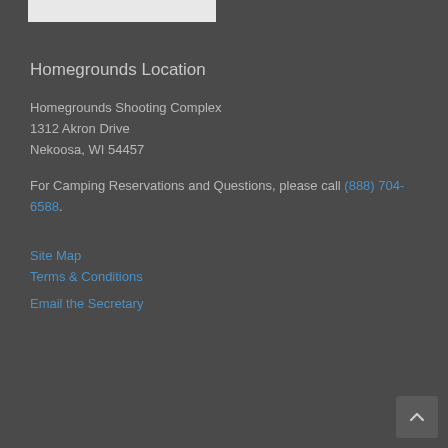[Figure (other): Light-colored rectangular banner/bar at top of page]
Homegrounds Location
Homegrounds Shooting Complex
1312 Akron Drive
Nekoosa, WI 54457
For Camping Reservations and Questions, please call (888) 704-6588.
Site Map
Terms & Conditions
Email the Secretary